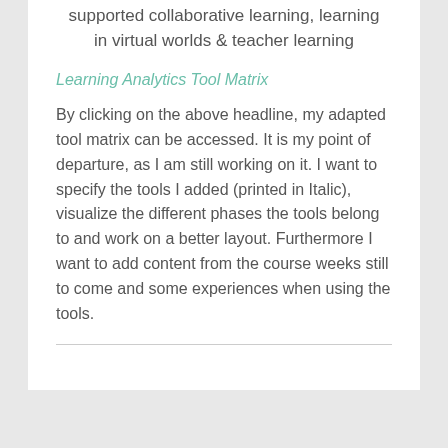supported collaborative learning, learning in virtual worlds & teacher learning
Learning Analytics Tool Matrix
By clicking on the above headline, my adapted tool matrix can be accessed. It is my point of departure, as I am still working on it. I want to specify the tools I added (printed in Italic), visualize the different phases the tools belong to and work on a better layout. Furthermore I want to add content from the course weeks still to come and some experiences when using the tools.